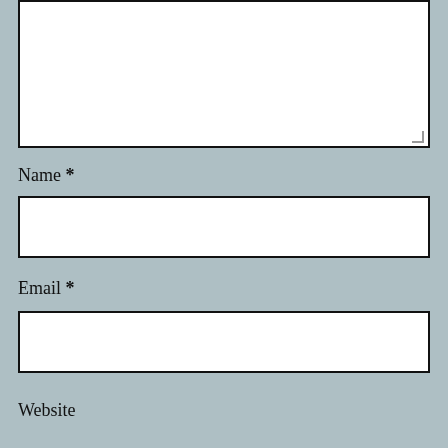[Figure (other): Large empty textarea input box with resize handle at bottom right]
Name *
[Figure (other): Single-line text input box for Name field]
Email *
[Figure (other): Single-line text input box for Email field]
Website